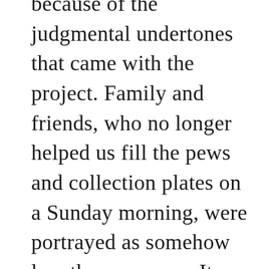because of the judgmental undertones that came with the project. Family and friends, who no longer helped us fill the pews and collection plates on a Sunday morning, were portrayed as somehow less than we were. It was assumed that they had lost their faith, that God no longer had a place in